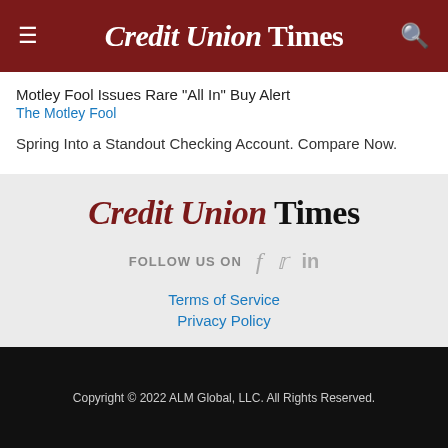Credit Union Times
Motley Fool Issues Rare "All In" Buy Alert
The Motley Fool
Spring Into a Standout Checking Account. Compare Now.
[Figure (logo): Credit Union Times logo in dark red and black serif font]
FOLLOW US ON  f  in
Terms of Service
Privacy Policy
Copyright © 2022 ALM Global, LLC. All Rights Reserved.